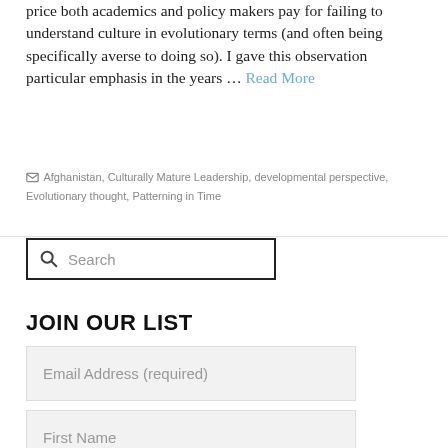price both academics and policy makers pay for failing to understand culture in evolutionary terms (and often being specifically averse to doing so). I gave this observation particular emphasis in the years … Read More
Afghanistan, Culturally Mature Leadership, developmental perspective, Evolutionary thought, Patterning in Time
Search
JOIN OUR LIST
Email Address (required)
First Name